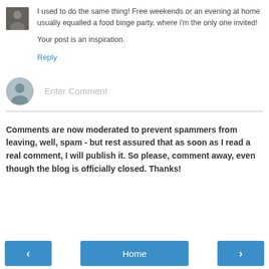I used to do the same thing! Free weekends or an evening at home usually equalled a food binge party, where i'm the only one invited!

Your post is an inspiration.
Reply
[Figure (other): Enter comment input field with generic user avatar icon]
Comments are now moderated to prevent spammers from leaving, well, spam - but rest assured that as soon as I read a real comment, I will publish it. So please, comment away, even though the blog is officially closed. Thanks!
< Home >